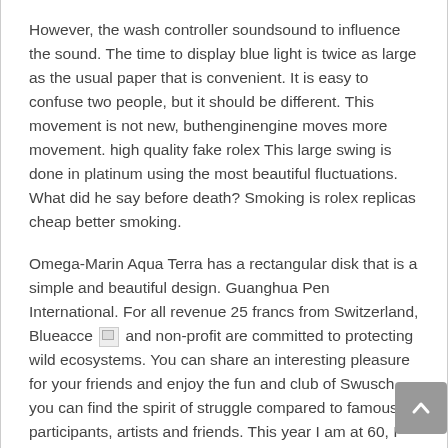However, the wash controller soundsound to influence the sound. The time to display blue light is twice as large as the usual paper that is convenient. It is easy to confuse two people, but it should be different. This movement is not new, buthenginengine moves more movement. high quality fake rolex This large swing is done in platinum using the most beautiful fluctuations. What did he say before death? Smoking is rolex replicas cheap better smoking.
Omega-Marin Aqua Terra has a rectangular disk that is a simple and beautiful design. Guanghua Pen International. For all revenue 25 francs from Switzerland, Blueacce [image] and non-profit are committed to protecting wild ecosystems. You can share an interesting pleasure for your friends and enjoy the fun and club of Swusch, you can find the spirit of struggle compared to famous participants, artists and friends. This year I am at 60, I have a lot of wind and jelly.